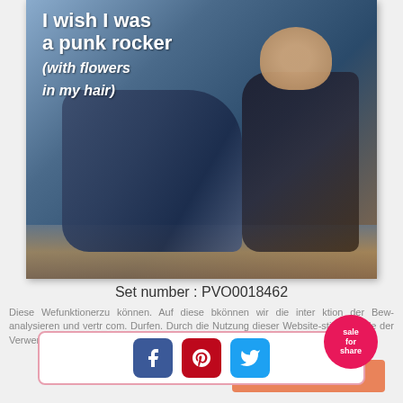[Figure (photo): Album cover photo showing a woman sitting on the floor wearing dark jeans and a black sequined top, smiling. Text on cover reads 'I wish I was a punk rocker (with flowers in my hair)']
Set number : PVO0018462
Diese We funktioner inter ktion der B vertr com. Dur stimmen Sie der Verwendung von Cookies zu.